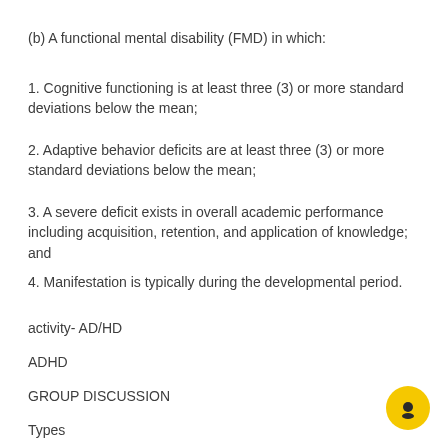(b) A functional mental disability (FMD) in which:
1. Cognitive functioning is at least three (3) or more standard deviations below the mean;
2. Adaptive behavior deficits are at least three (3) or more standard deviations below the mean;
3. A severe deficit exists in overall academic performance including acquisition, retention, and application of knowledge; and
4. Manifestation is typically during the developmental period.
activity- AD/HD
ADHD
GROUP DISCUSSION
Types